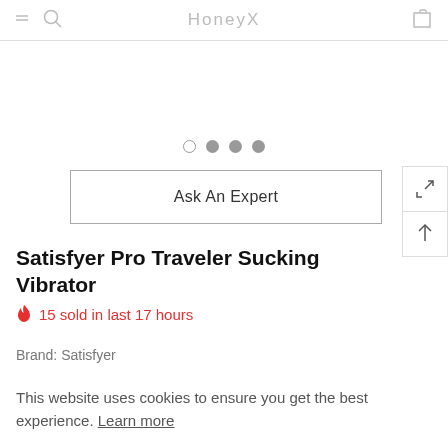HoneyX
[Figure (screenshot): Carousel dot navigation indicators: one empty circle and three filled grey circles]
Ask An Expert
Satisfyer Pro Traveler Sucking Vibrator
🔥 15 sold in last 17 hours
Brand: Satisfyer
This website uses cookies to ensure you get the best experience. Learn more
Ok, got it